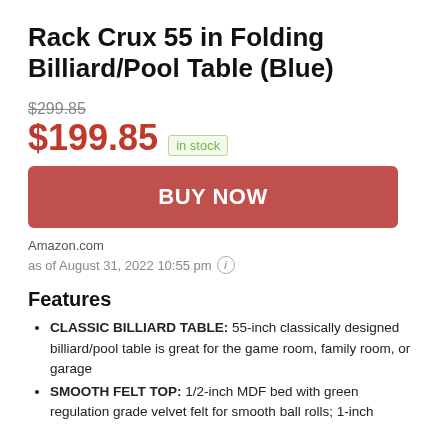Rack Crux 55 in Folding Billiard/Pool Table (Blue)
$299.85 (strikethrough)
$199.85  in stock
BUY NOW
Amazon.com
as of August 31, 2022 10:55 pm (i)
Features
CLASSIC BILLIARD TABLE: 55-inch classically designed billiard/pool table is great for the game room, family room, or garage
SMOOTH FELT TOP: 1/2-inch MDF bed with green regulation grade velvet felt for smooth ball rolls; 1-inch